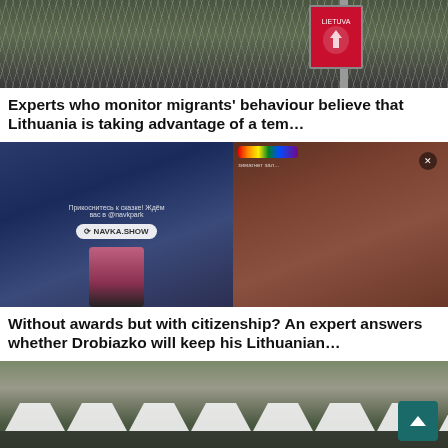[Figure (photo): Photo of a barbed wire border fence with a Lithuanian sign/coat of arms on a post, forested area in background]
Experts who monitor migrants' behaviour believe that Lithuania is taking advantage of a tem…
[Figure (screenshot): Screenshot of social media posts side by side: left shows Navka.show advertisement with a woman in folk costume, right shows a colorful decorative image with rainbow badge and X close button]
Without awards but with citizenship? An expert answers whether Drobiazko will keep his Lithuanian…
[Figure (photo): Photo of rows of white tents in a field with trees in background, people visible below]